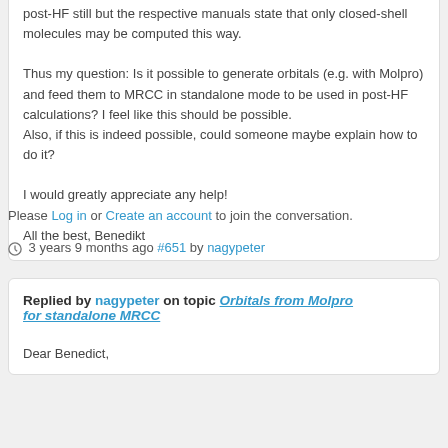post-HF still but the respective manuals state that only closed-shell molecules may be computed this way.

Thus my question: Is it possible to generate orbitals (e.g. with Molpro) and feed them to MRCC in standalone mode to be used in post-HF calculations? I feel like this should be possible.
Also, if this is indeed possible, could someone maybe explain how to do it?

I would greatly appreciate any help!

All the best, Benedikt
Please Log in or Create an account to join the conversation.
3 years 9 months ago #651 by nagypeter
Replied by nagypeter on topic Orbitals from Molpro for standalone MRCC
Dear Benedict,